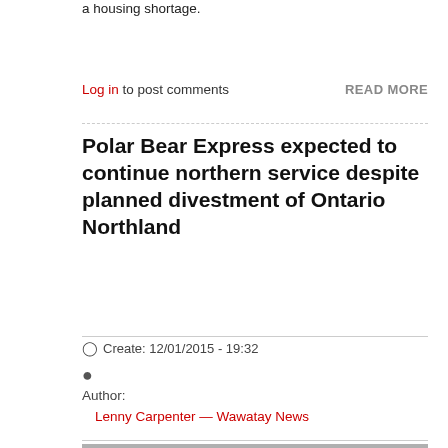a housing shortage.
Log in to post comments
READ MORE
Polar Bear Express expected to continue northern service despite planned divestment of Ontario Northland
Create: 12/01/2015 - 19:32
Author:
Lenny Carpenter — Wawatay News
[Figure (photo): Grayscale photograph, partially visible at the bottom of the page, appears to show a train or railway scene.]